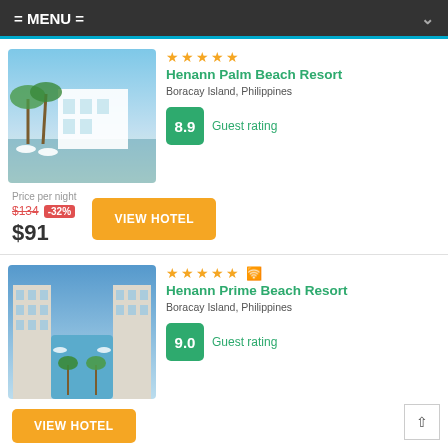= MENU =
[Figure (photo): Henann Palm Beach Resort exterior with palm trees, pool area, and umbrellas in Boracay Island, Philippines]
★★★★★
Henann Palm Beach Resort
Boracay Island, Philippines
8.9 Guest rating
Price per night
$134 -32%
$91
VIEW HOTEL
[Figure (photo): Henann Prime Beach Resort aerial view of pool courtyard surrounded by multi-story resort buildings in Boracay Island, Philippines]
★★★★★ (wifi)
Henann Prime Beach Resort
Boracay Island, Philippines
9.0 Guest rating
VIEW HOTEL